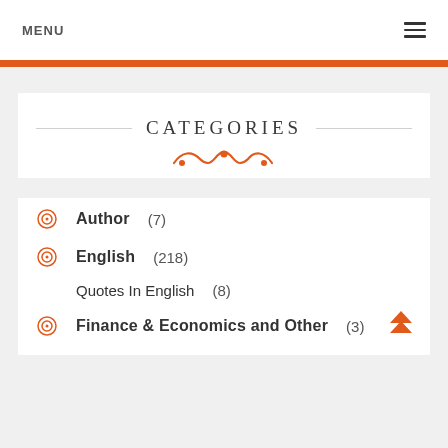MENU
CATEGORIES
Author (7)
English (218)
Quotes In English (8)
Finance & Economics and Other (3)